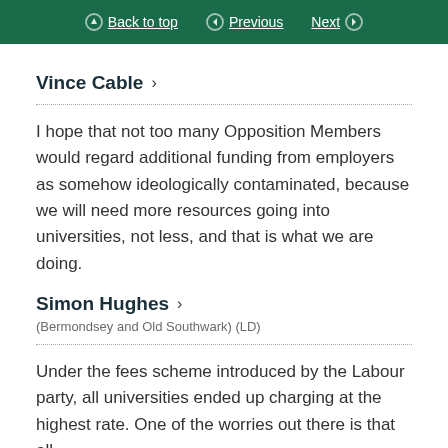Back to top   Previous   Next
Vince Cable >
I hope that not too many Opposition Members would regard additional funding from employers as somehow ideologically contaminated, because we will need more resources going into universities, not less, and that is what we are doing.
Simon Hughes >
(Bermondsey and Old Southwark) (LD)
Under the fees scheme introduced by the Labour party, all universities ended up charging at the highest rate. One of the worries out there is that all